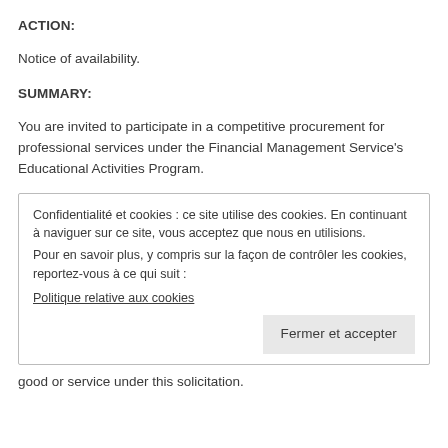ACTION:
Notice of availability.
SUMMARY:
You are invited to participate in a competitive procurement for professional services under the Financial Management Service's Educational Activities Program.
[Figure (screenshot): Cookie consent dialog box in French: 'Confidentialité et cookies : ce site utilise des cookies. En continuant à naviguer sur ce site, vous acceptez que nous en utilisions. Pour en savoir plus, y compris sur la façon de contrôler les cookies, reportez-vous à ce qui suit : Politique relative aux cookies' with a 'Fermer et accepter' button.]
good or service under this solicitation.